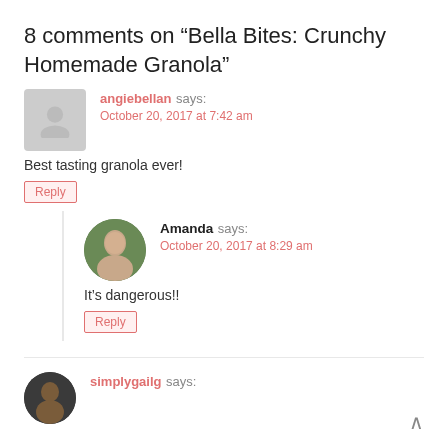8 comments on “Bella Bites: Crunchy Homemade Granola”
angiebellan says:
October 20, 2017 at 7:42 am
Best tasting granola ever!
Reply
Amanda says:
October 20, 2017 at 8:29 am
It’s dangerous!!
Reply
simplygailg says: